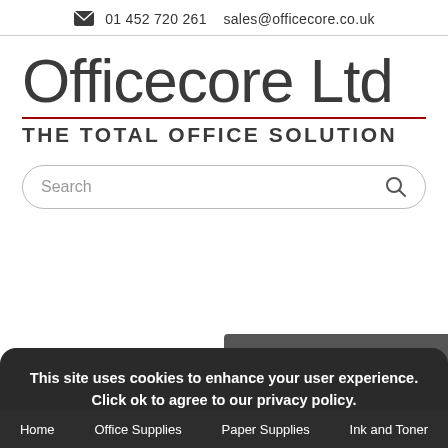✉  01 452 720 261   sales@officecore.co.uk
Officecore Ltd
THE TOTAL OFFICE SOLUTION
[Figure (screenshot): Search bar with rounded border and magnifying glass icon]
This site uses cookies to enhance your user experience. Click ok to agree to our privacy policy.
Find out more   OK
Home   Office Supplies   Paper Supplies   Ink and Toner